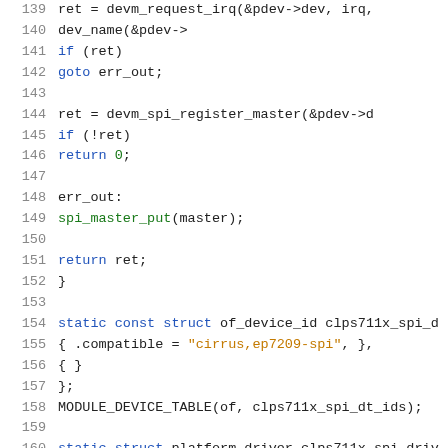[Figure (screenshot): Source code listing lines 139-160 of a Linux kernel SPI driver (clps711x_spi), showing C code with syntax highlighting. Line numbers in grey on the left, keywords in blue, string literals in orange/gold, function names in green.]